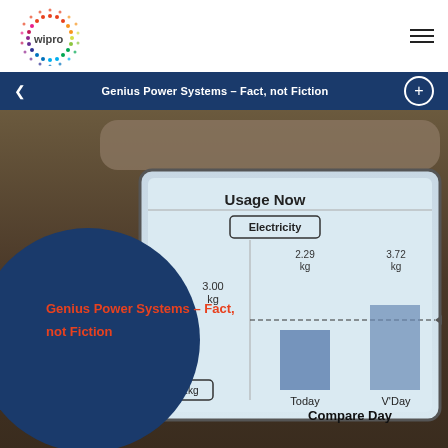[Figure (logo): Wipro logo with colorful dot pattern circle and 'wipro' text]
Genius Power Systems - Fact, not Fiction
[Figure (photo): Photo of a smart energy monitor device showing 'Usage Now' screen with Electricity and Co2kg readings. Today: 3.00 kg, Compare Day showing 2.29 kg and 3.72 kg bars. A large blue circle overlays the bottom-left with the title text.]
Genius Power Systems – Fact, not Fiction